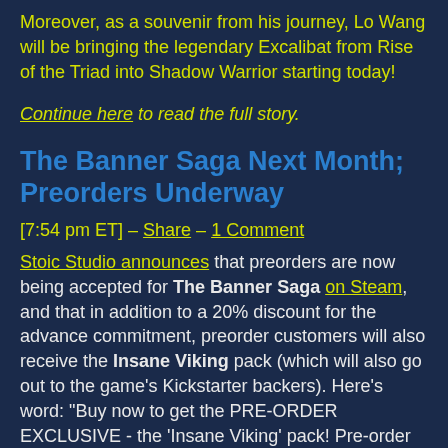Moreover, as a souvenir from his journey, Lo Wang will be bringing the legendary Excalibat from Rise of the Triad into Shadow Warrior starting today!
Continue here to read the full story.
The Banner Saga Next Month; Preorders Underway
[7:54 pm ET] – Share – 1 Comment
Stoic Studio announces that preorders are now being accepted for The Banner Saga on Steam, and that in addition to a 20% discount for the advance commitment, preorder customers will also receive the Insane Viking pack (which will also go out to the game's Kickstarter backers). Here's word: "Buy now to get the PRE-ORDER EXCLUSIVE - the 'Insane Viking' pack! Pre-order includes the exclusive Tryggvi character (spearman class) plus a necklace that grants a +10% extra damage in combat. It also includes three exclusive tracks created by Grammy nominated composer Austin Wintory."